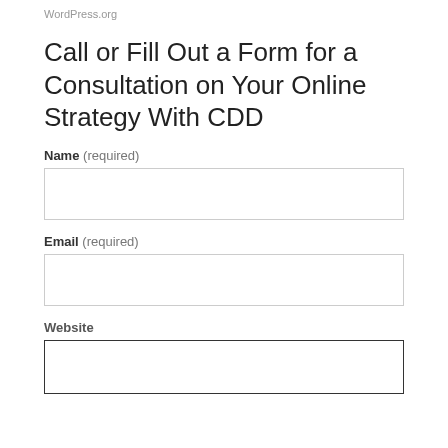WordPress.org
Call or Fill Out a Form for a Consultation on Your Online Strategy With CDD
Name (required)
Email (required)
Website